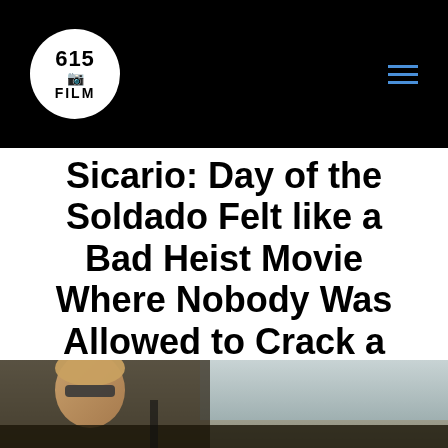615 FILM
Sicario: Day of the Soldado Felt like a Bad Heist Movie Where Nobody Was Allowed to Crack a Smile (Review)
by Mark Miller | Jul 3, 2018
[Figure (photo): Movie still from Sicario: Day of the Soldado showing a character in a vehicle]